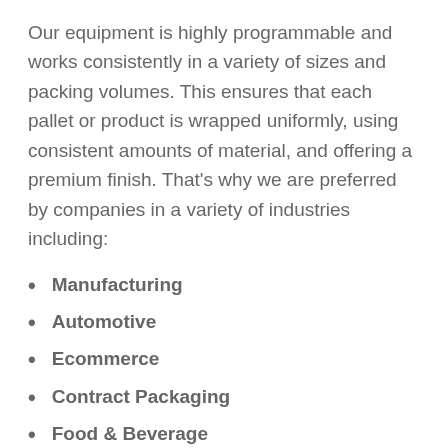Our equipment is highly programmable and works consistently in a variety of sizes and packing volumes. This ensures that each pallet or product is wrapped uniformly, using consistent amounts of material, and offering a premium finish. That's why we are preferred by companies in a variety of industries including:
Manufacturing
Automotive
Ecommerce
Contract Packaging
Food & Beverage
Agriculture
Steel & Other Metals